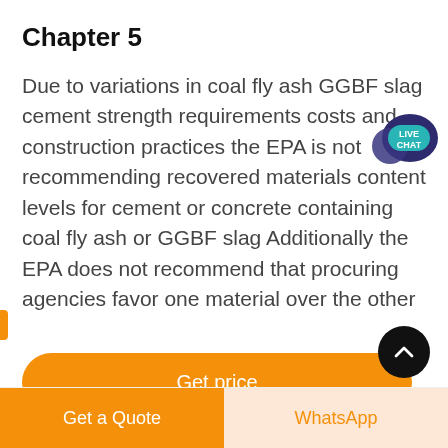Chapter 5
Due to variations in coal fly ash GGBF slag cement strength requirements costs and construction practices the EPA is not recommending recovered materials content levels for cement or concrete containing coal fly ash or GGBF slag Additionally the EPA does not recommend that procuring agencies favor one material over the other
[Figure (other): Orange 'Get price' button with rounded corners]
[Figure (other): Live Chat speech bubble icon in dark blue/teal with text LIVE CHAT]
[Figure (other): Black circular scroll-to-top button with upward chevron]
Get a Quote | WhatsApp